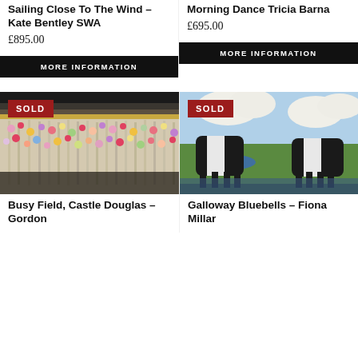Sailing Close To The Wind – Kate Bentley SWA
£895.00
MORE INFORMATION
Morning Dance Tricia Barna
£695.00
MORE INFORMATION
[Figure (photo): Painting of colorful flowers in a busy field, SOLD badge overlay]
Busy Field, Castle Douglas – Gordon
[Figure (photo): Painting of stylized black cows/cattle with white markings on green landscape with blue sky and clouds, SOLD badge overlay]
Galloway Bluebells – Fiona Millar